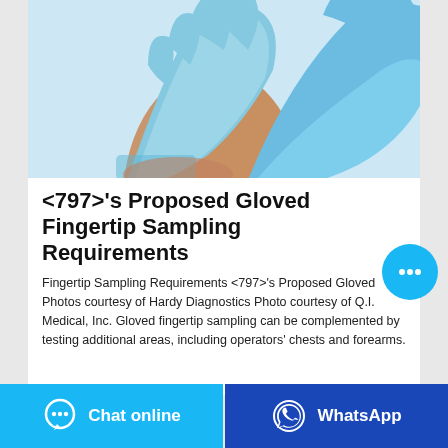[Figure (photo): Blue latex/nitrile gloves being put on hands against white background]
<797>'s Proposed Gloved Fingertip Sampling Requirements
Fingertip Sampling Requirements <797>'s Proposed Gloved Photos courtesy of Hardy Diagnostics Photo courtesy of Q.I. Medical, Inc. Gloved fingertip sampling can be complemented by testing additional areas, including operators' chests and forearms.
[Figure (other): Chat bubble floating action button (cyan circle with three dots)]
Chat online | WhatsApp